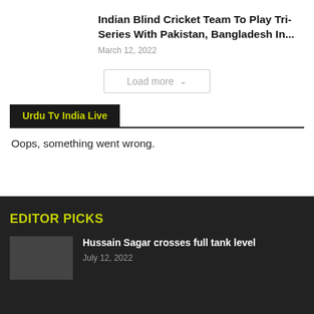Indian Blind Cricket Team To Play Tri-Series With Pakistan, Bangladesh In...
March 12, 2022
Load more
Urdu Tv India Live
Oops, something went wrong.
EDITOR PICKS
Hussain Sagar crosses full tank level
July 12, 2022